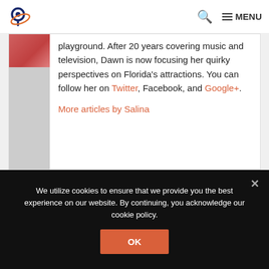Logo | Search | MENU
playground. After 20 years covering music and television, Dawn is now focusing her quirky perspectives on Florida's attractions. You can follow her on Twitter, Facebook, and Google+.
More articles by Salina
We utilize cookies to ensure that we provide you the best experience on our website. By continuing, you acknowledge our cookie policy.
OK